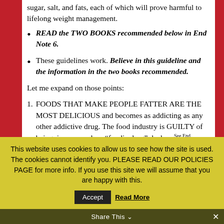sugar, salt, and fats, each of which will prove harmful to lifelong weight management.
READ the TWO BOOKS recommended below in End Note 6.
These guidelines work. Believe in this guideline and the information in the two books recommended.
Let me expand on those points:
1. FOODS THAT MAKE PEOPLE FATTER ARE THE MOST DELICIOUS and becomes as addicting as any other addictive drug. The food industry is GUILTY of being, in my words, a “foodie drug” dealer. See End
This website uses cookies to allow us to see how the site is used. The cookies cannot identify you. PLEASE READ OUR POLICIES PAGE for more info. If you use this site we will assume that you are happy with this.
Share This
Accept
Read More